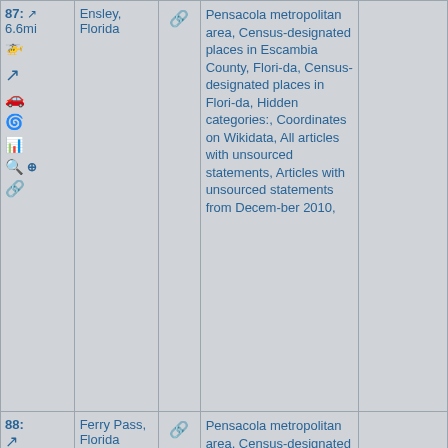| #/Distance/Icons | Name | Link | Categories | Extra |
| --- | --- | --- | --- | --- |
| 87:
6.6mi
[helicopter][turn][car][spiral][chart][search][+][link] | Ensley, Florida | [link] | Pensacola metropolitan area, Census-designated places in Escambia County, Florida, Census-designated places in Florida, Hidden categories:, Coordinates on Wikidata, All articles with unsourced statements, Articles with unsourced statements from December 2010, |  |
| 88:
[turn]
7mi
[helicopter][turn][car] | Ferry Pass, Florida | [link] | Pensacola metropolitan area, Census-designated places in Escambia County, Flori-da, C... |  |